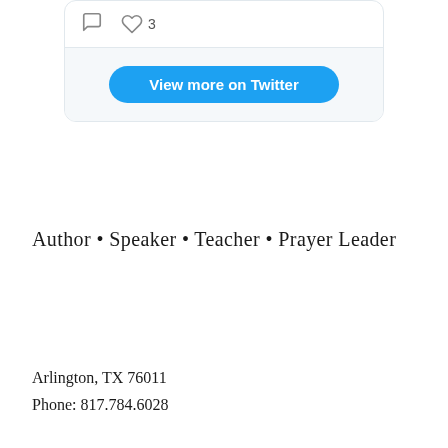[Figure (screenshot): Twitter/social media card widget showing comment and heart icons (heart with count 3) at top, and a 'View more on Twitter' button below on a light gray background]
Author • Speaker • Teacher • Prayer Leader
Arlington, TX 76011
Phone: 817.784.6028